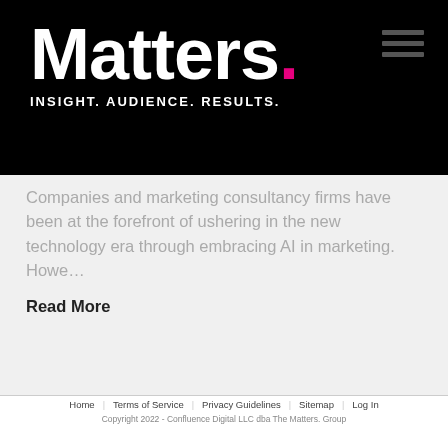[Figure (logo): Matters. logo with pink dot on black background, tagline INSIGHT. AUDIENCE. RESULTS. below]
Companies and marketing consultancy firms have been at the forefront of ushering in the new technology era through embracing AI in marketing. Howe…
Read More
Home
Terms of Service
Privacy Guidelines
Sitemap
Log In
Copyright 2022 - Confluence Digital LLC dba The Matters. Group